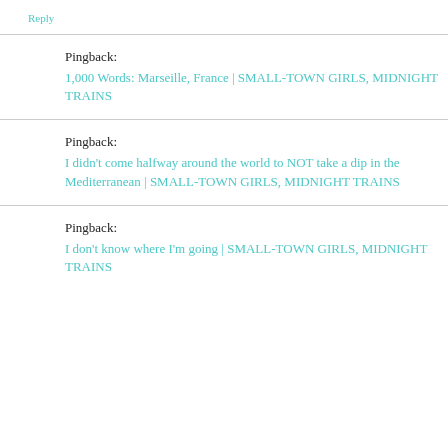Reply
Pingback: 1,000 Words: Marseille, France | SMALL-TOWN GIRLS, MIDNIGHT TRAINS
Pingback: I didn't come halfway around the world to NOT take a dip in the Mediterranean | SMALL-TOWN GIRLS, MIDNIGHT TRAINS
Pingback: I don't know where I'm going | SMALL-TOWN GIRLS, MIDNIGHT TRAINS